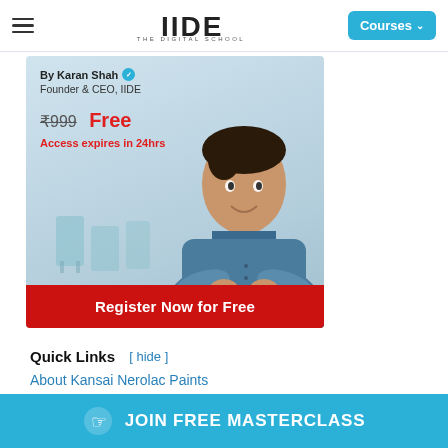IIDE - THE DIGITAL SCHOOL | Courses
[Figure (photo): Promotional banner for IIDE online course by Karan Shah, Founder & CEO, IIDE. Shows crossed-out price ₹999 and 'Free' in red, 'Access expires in 24hrs', and a 'Register Now for Free' red button. Photo of a man in blue shirt with arms crossed.]
Quick Links [ hide ]
About Kansai Nerolac Paints
Marketing Campaigns of Nerolac Paints
[Figure (other): Bottom sticky CTA button: JOIN FREE MASTERCLASS in cyan/blue background with hand pointer icon]